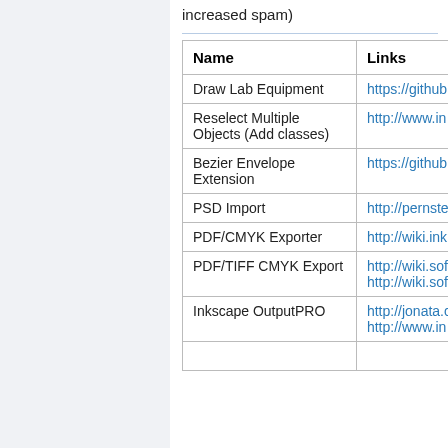increased spam)
| Name | Links |
| --- | --- |
| Draw Lab Equipment | https://github… |
| Reselect Multiple Objects (Add classes) | http://www.in… |
| Bezier Envelope Extension | https://github… |
| PSD Import | http://pernste… |
| PDF/CMYK Exporter | http://wiki.ink… |
| PDF/TIFF CMYK Export | http://wiki.sof…
http://wiki.sof… |
| Inkscape OutputPRO | http://jonata.c…
http://www.in… |